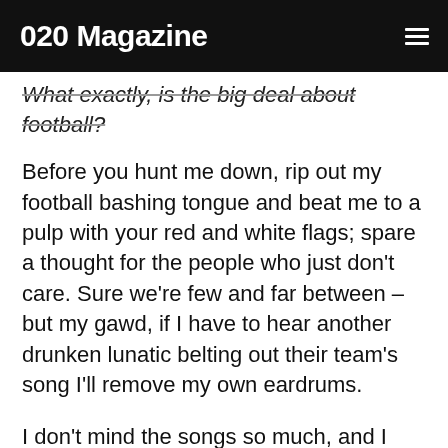020 Magazine
What exactly, is the big deal about football?
Before you hunt me down, rip out my football bashing tongue and beat me to a pulp with your red and white flags; spare a thought for the people who just don't care. Sure we're few and far between – but my gawd, if I have to hear another drunken lunatic belting out their team's song I'll remove my own eardrums.
I don't mind the songs so much, and I can appreciate the joy of victory on the field (I am an Aussie after all) but please, sing in tune. I also don't mind the game itself, although Aussie Rules wipes